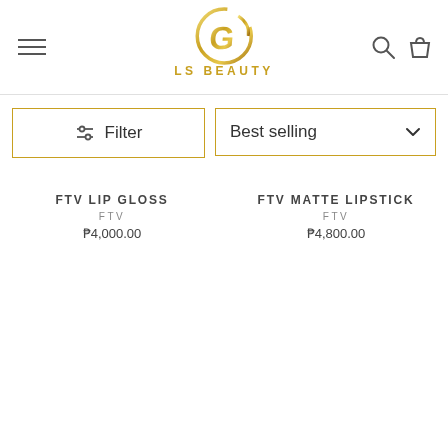[Figure (logo): LS Beauty gold logo with circular G letter mark above text LS BEAUTY in gold]
Filter
Best selling
FTV LIP GLOSS
FTV
₱4,000.00
FTV MATTE LIPSTICK
FTV
₱4,800.00